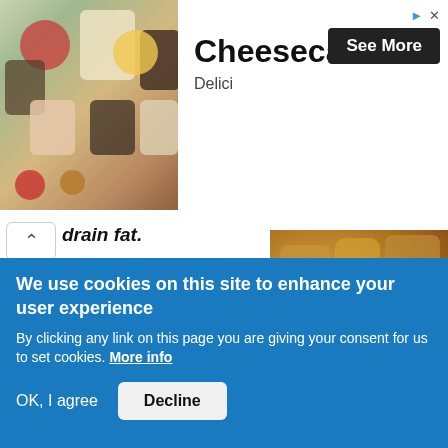[Figure (photo): Advertisement banner showing cheesecakes and desserts in jars with text 'Cheesecakes', 'Delici', and a 'See More' button]
[Figure (photo): Fried breaded meat pieces on a surface, golden brown]
drain fat.
Leave the fried meat on a flat strainer or paper towel for 5-10 minutes to drain fat.
13. Deep-fry again
[Figure (photo): Chopsticks holding food in a deep-fry pan on a stove]
Deep-fry once again for about 30
We use cookies on this site to enhance your user experience
By clicking any link on this page you are giving your consent for us to set cookies. More info
OK, I agree   Decline